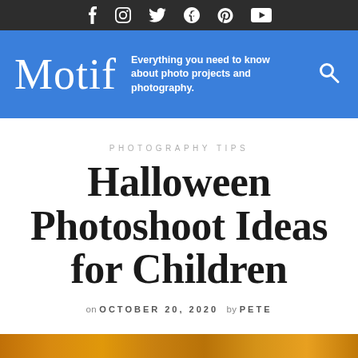Social media icons: Facebook, Instagram, Twitter, Pinterest, YouTube
[Figure (logo): Motif logo with tagline: Everything you need to know about photo projects and photography.]
PHOTOGRAPHY TIPS
Halloween Photoshoot Ideas for Children
on OCTOBER 20, 2020  by PETE
[Figure (photo): Partial bottom image strip showing warm orange tones, likely pumpkins or autumn scene]